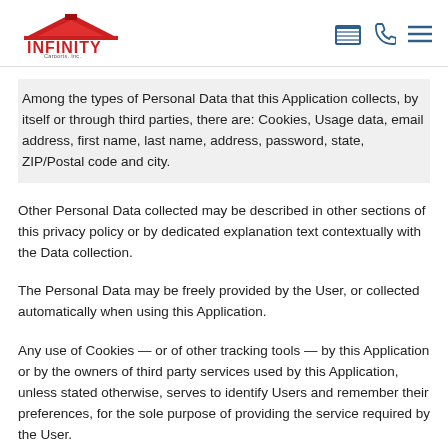Infinity Carports, Inc.
Among the types of Personal Data that this Application collects, by itself or through third parties, there are: Cookies, Usage data, email address, first name, last name, address, password, state, ZIP/Postal code and city.
Other Personal Data collected may be described in other sections of this privacy policy or by dedicated explanation text contextually with the Data collection.
The Personal Data may be freely provided by the User, or collected automatically when using this Application.
Any use of Cookies — or of other tracking tools — by this Application or by the owners of third party services used by this Application, unless stated otherwise, serves to identify Users and remember their preferences, for the sole purpose of providing the service required by the User.